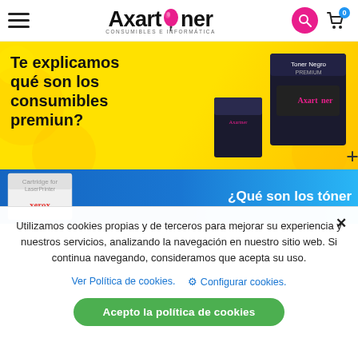[Figure (screenshot): Axartoner website header with hamburger menu, logo, search and cart icons]
[Figure (screenshot): Yellow promotional banner: Te explicamos qué son los consumibles premiun? with Axartoner product images]
[Figure (screenshot): Blue banner partially visible: ¿Qué son los tóner with Xerox cartridge image]
Utilizamos cookies propias y de terceros para mejorar su experiencia y nuestros servicios, analizando la navegación en nuestro sitio web. Si continua navegando, consideramos que acepta su uso.
Ver Política de cookies.   Configurar cookies.
Acepto la política de cookies